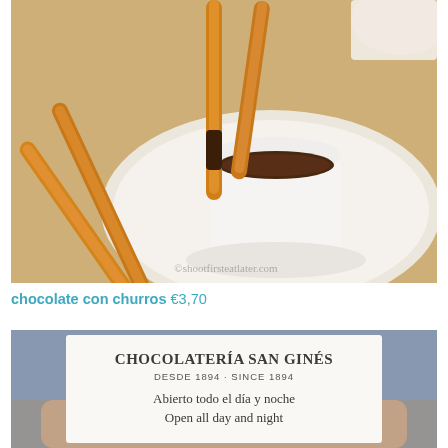[Figure (photo): Close-up photo of churros dipped in thick hot chocolate in a white cup on a white plate, with a watermark reading ©shootfirsteatlater.com]
chocolate con churros €3,70
[Figure (photo): Photo of a hand holding a white card reading CHOCOLATERÍA SAN GINÉS, DESDE 1894 · SINCE 1894, Abierto todo el día y noche, Open all day and night]